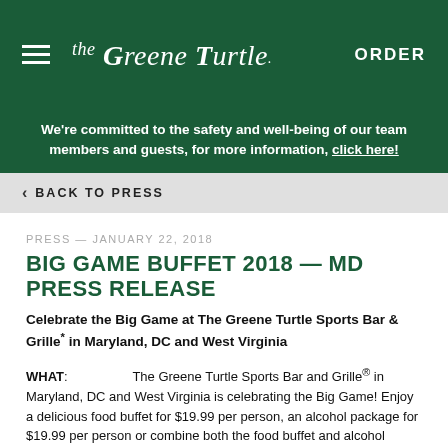[Figure (logo): The Greene Turtle logo in white on dark green header bar with hamburger menu and ORDER button]
We're committed to the safety and well-being of our team members and guests, for more information, click here!
< BACK TO PRESS
PRESS — JANUARY 22, 2018
BIG GAME BUFFET 2018 — MD PRESS RELEASE
Celebrate the Big Game at The Greene Turtle Sports Bar & Grille* in Maryland, DC and West Virginia
WHAT: The Greene Turtle Sports Bar and Grille® in Maryland, DC and West Virginia is celebrating the Big Game! Enjoy a delicious food buffet for $19.99 per person, an alcohol package for $19.99 per person or combine both the food buffet and alcohol package for $39.99 per person. From 5:30